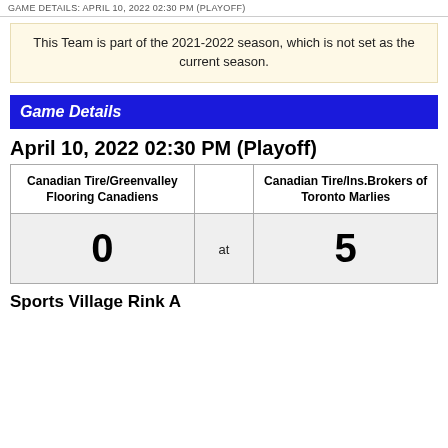GAME DETAILS: APRIL 10, 2022 02:30 PM (PLAYOFF)
This Team is part of the 2021-2022 season, which is not set as the current season.
Game Details
April 10, 2022 02:30 PM (Playoff)
| Canadian Tire/Greenvalley Flooring Canadiens |  | Canadian Tire/Ins.Brokers of Toronto Marlies |
| --- | --- | --- |
| 0 | at | 5 |
Sports Village Rink A